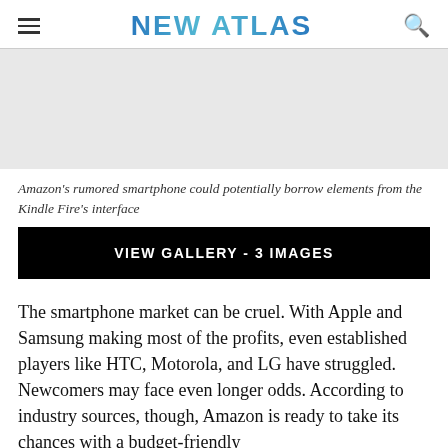NEW ATLAS
[Figure (photo): Image area showing a smartphone or tablet interface related to Amazon Kindle Fire]
Amazon's rumored smartphone could potentially borrow elements from the Kindle Fire's interface
VIEW GALLERY - 3 IMAGES
The smartphone market can be cruel. With Apple and Samsung making most of the profits, even established players like HTC, Motorola, and LG have struggled. Newcomers may face even longer odds. According to industry sources, though, Amazon is ready to take its chances with a budget-friendly